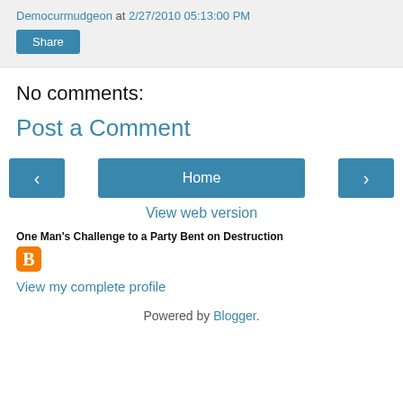Democurmudgeon at 2/27/2010 05:13:00 PM
Share
No comments:
Post a Comment
‹ Home ›
View web version
One Man's Challenge to a Party Bent on Destruction
[Figure (logo): Blogger orange B logo icon]
View my complete profile
Powered by Blogger.